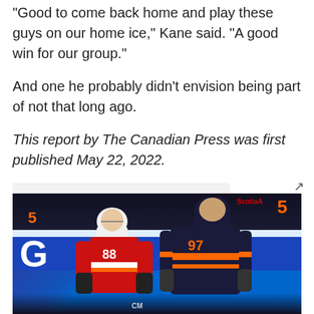“Good to come back home and play these guys on our home ice,” Kane said. “A good win for our group.”
And one he probably didn't envision being part of not that long ago.
This report by The Canadian Press was first published May 22, 2022.
RELATED IMAGES
[Figure (photo): Two hockey players battling along the boards: Calgary Flames player #88 in red and white jersey, Edmonton Oilers player #97 in navy and orange jersey. Blue rink boards visible in background with ScotiaBank signage.]